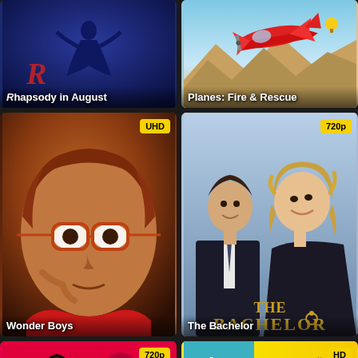[Figure (screenshot): Movie poster card for 'Rhapsody in August' — dark blue background with silhouette figure, red stylized R logo]
[Figure (screenshot): Movie poster card for 'Planes: Fire & Rescue' — animated red airplane against sky with mountains]
[Figure (screenshot): Movie poster card for 'Wonder Boys' — close-up of man with glasses and red frames, UHD badge]
[Figure (screenshot): Movie poster card for 'The Bachelor' — couple smiling, man in dark suit woman with curly hair, 720p badge, gold 'The Bachelor' title]
[Figure (screenshot): Movie poster card bottom left — two women on red background, 720p badge]
[Figure (screenshot): Movie poster card bottom right — yellow background, 'Susan Sarandon', 'Anywhere', HD badge]